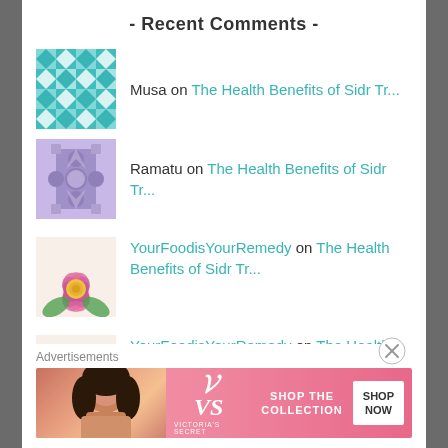- Recent Comments -
Musa on The Health Benefits of Sidr Tr...
Ramatu on The Health Benefits of Sidr Tr...
YourFoodisYourRemedy on The Health Benefits of Sidr Tr...
YourFoodisYourRemedy on The Health Benefits of Sidr Tr...
Zahira Banu on The Health Benefits of Sidr Tr...
Advertisements
[Figure (photo): Victoria's Secret advertisement banner with model, VS logo, 'SHOP THE COLLECTION' text and 'SHOP NOW' button]